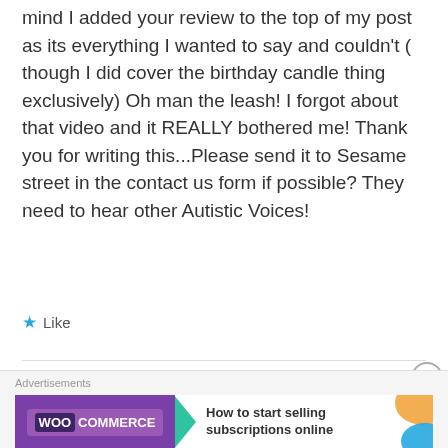mind I added your review to the top of my post as its everything I wanted to say and couldn't ( though I did cover the birthday candle thing exclusively) Oh man the leash! I forgot about that video and it REALLY bothered me! Thank you for writing this...Please send it to Sesame street in the contact us form if possible? They need to hear other Autistic Voices!
★ Like
[Figure (other): WooCommerce advertisement banner with teal arrow, orange and blue decorative shapes, text: How to start selling subscriptions online]